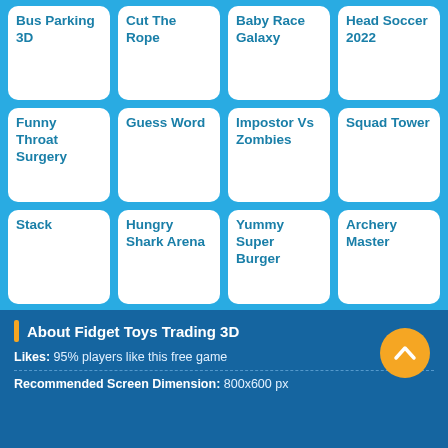[Figure (infographic): 4x3 grid of game tiles on blue background: Bus Parking 3D, Cut The Rope, Baby Race Galaxy, Head Soccer 2022, Funny Throat Surgery, Guess Word, Impostor Vs Zombies, Squad Tower, Stack, Hungry Shark Arena, Yummy Super Burger, Archery Master]
About Fidget Toys Trading 3D
Likes: 95% players like this free game
Recommended Screen Dimension: 800x600 px